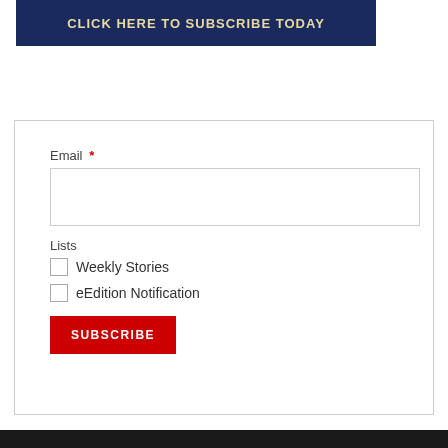[Figure (infographic): Dark navy blue banner with text 'CLICK HERE TO SUBSCRIBE TODAY' in gold/cream bold capital letters]
Email *
Lists
Weekly Stories
eEdition Notification
SUBSCRIBE